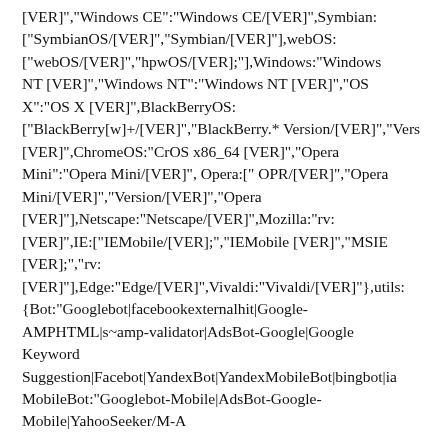[VER],"Windows CE":"Windows CE/[VER]",Symbian:["SymbianOS/[VER]","Symbian/[VER]"],webOS:["webOS/[VER]","hpwOS/[VER];"],Windows:"Windows NT [VER]","Windows NT":"Windows NT [VER]","OS X":"OS X [VER]",BlackBerryOS:["BlackBerry[w]+/[VER]","BlackBerry.* Version/[VER]","Vers[VER]",ChromeOS:"CrOS x86_64 [VER]","Opera Mini":"Opera Mini/[VER]", Opera:[" OPR/[VER]","Opera Mini/[VER]","Version/[VER]","Opera [VER]"],Netscape:"Netscape/[VER]",Mozilla:"rv:[VER]",IE:["IEMobile/[VER];","IEMobile [VER]","MSIE [VER];","rv:[VER]"],Edge:"Edge/[VER]",Vivaldi:"Vivaldi/[VER]"},utils:{Bot:"Googlebot|facebookexternalhit|Google-AMPHTML|s~amp-validator|AdsBot-Google|Google Keyword Suggestion|Facebot|YandexBot|YandexMobileBot|bingbot|ia_archiver",MobileBot:"Googlebot-Mobile|AdsBot-Google-Mobile|YahoоSeeker/M-A...